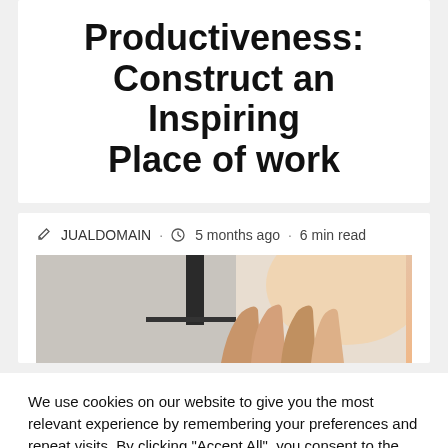Productiveness: Construct an Inspiring Place of work
✎ JUALDOMAIN · ⏱ 5 months ago · 6 min read
[Figure (photo): Hands raised together in a teamwork gesture, office/workplace background]
We use cookies on our website to give you the most relevant experience by remembering your preferences and repeat visits. By clicking "Accept All", you consent to the use of ALL the cookies. However, you may visit "Cookie Settings" to provide a controlled consent.
Cookie Settings | Accept All